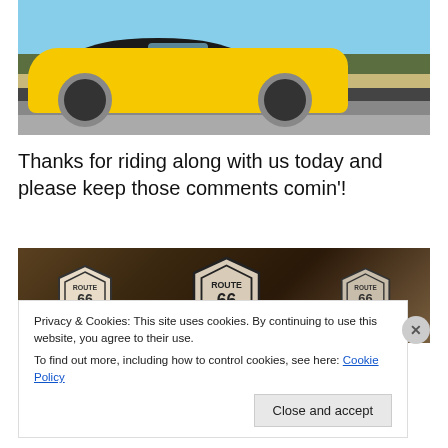[Figure (photo): A man leaning out of a yellow Chevrolet Camaro convertible parked on a road, with desert shrubs and a blue sky in the background.]
Thanks for riding along with us today and please keep those comments comin'!
[Figure (photo): Close-up photograph of Route 66 shield signs laid on a wooden surface.]
Privacy & Cookies: This site uses cookies. By continuing to use this website, you agree to their use.
To find out more, including how to control cookies, see here: Cookie Policy
Close and accept